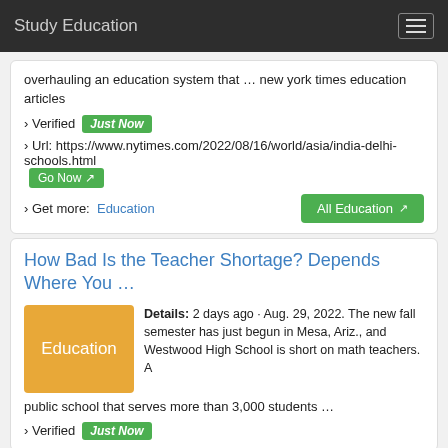Study Education
overhauling an education system that … new york times education articles
› Verified  Just Now
› Url: https://www.nytimes.com/2022/08/16/world/asia/india-delhi-schools.html  Go Now
› Get more:  Education   All Education
How Bad Is the Teacher Shortage? Depends Where You …
Details: 2 days ago · Aug. 29, 2022. The new fall semester has just begun in Mesa, Ariz., and Westwood High School is short on math teachers. A public school that serves more than 3,000 students …
› Verified